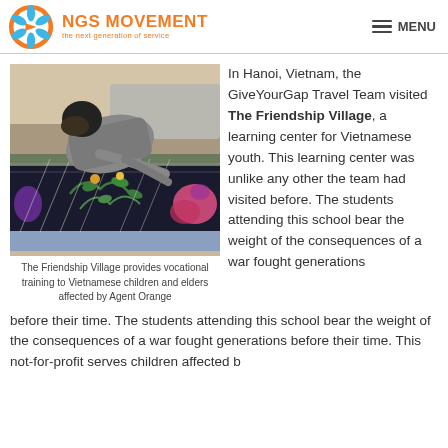NGS MOVEMENT — the next generation of service | MENU
[Figure (photo): A person bent over a weaving loom working on an embroidered textile with colorful floral patterns, in Vietnam]
The Friendship Village provides vocational training to Vietnamese children and elders affected by Agent Orange
In Hanoi, Vietnam, the GiveYourGap Travel Team visited The Friendship Village, a learning center for Vietnamese youth. This learning center was unlike any other the team had visited before. The students attending this school bear the weight of the consequences of a war fought generations before their time. This not-for-profit serves children affected b